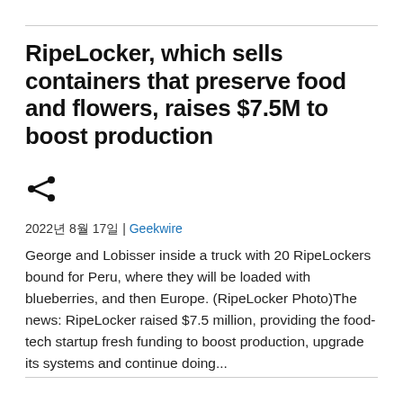RipeLocker, which sells containers that preserve food and flowers, raises $7.5M to boost production
[Figure (other): Share icon (social sharing button)]
2022년 8월 17일 | Geekwire
George and Lobisser inside a truck with 20 RipeLockers bound for Peru, where they will be loaded with blueberries, and then Europe. (RipeLocker Photo)The news: RipeLocker raised $7.5 million, providing the food-tech startup fresh funding to boost production, upgrade its systems and continue doing...